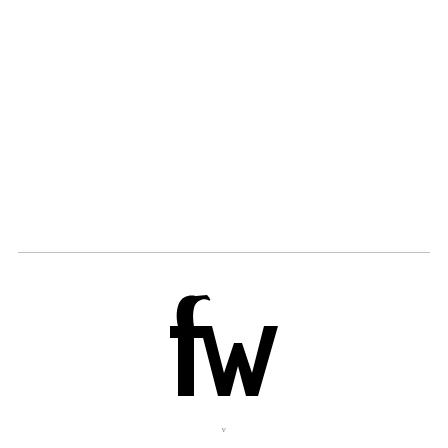[Figure (logo): fw logo — stylized serif lowercase 'f' overlapping with 'w', black on white]
v